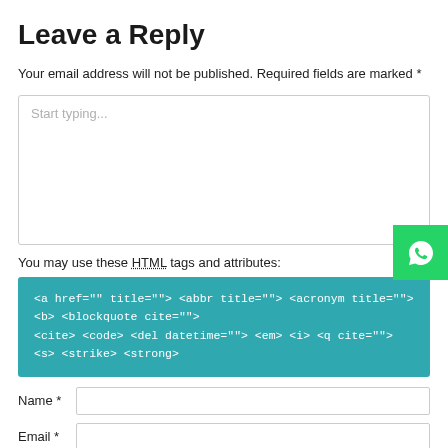Leave a Reply
Your email address will not be published. Required fields are marked *
[Figure (other): Large comment textarea with placeholder text 'Start typing...' and a resize handle in the bottom right corner]
[Figure (logo): WhatsApp floating button with green background and white WhatsApp phone icon]
You may use these HTML tags and attributes:
<a href="" title=""> <abbr title=""> <acronym title=""> <b> <blockquote cite=""> <cite> <code> <del datetime=""> <em> <i> <q cite=""> <s> <strike> <strong>
Name *
Email *